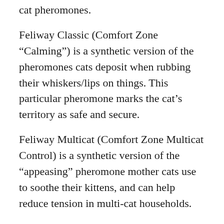cat pheromones.
Feliway Classic (Comfort Zone “Calming”) is a synthetic version of the pheromones cats deposit when rubbing their whiskers/lips on things. This particular pheromone marks the cat’s territory as safe and secure.
Feliway Multicat (Comfort Zone Multicat Control) is a synthetic version of the “appeasing” pheromone mother cats use to soothe their kittens, and can help reduce tension in multi-cat households.
Feliscratch replicates the pheromones released when a cat scratches something, marking territory and signaling that he